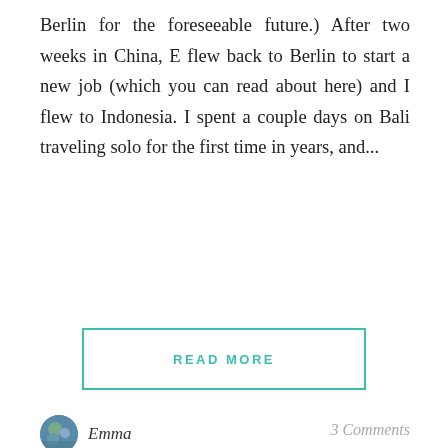Berlin for the foreseeable future.) After two weeks in China, E flew back to Berlin to start a new job (which you can read about here) and I flew to Indonesia. I spent a couple days on Bali traveling solo for the first time in years, and...
READ MORE
Emma
3 Comments
[Figure (photo): Close-up photo of an orange/red tulip flower against a blue background with shadows]